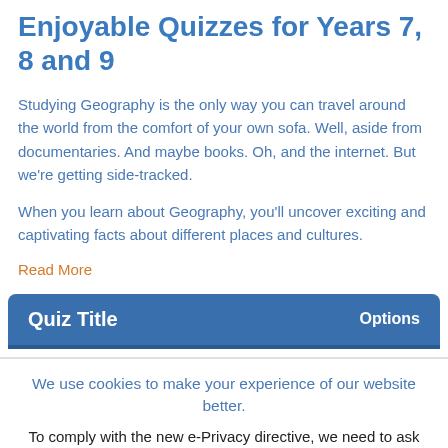Enjoyable Quizzes for Years 7, 8 and 9
Studying Geography is the only way you can travel around the world from the comfort of your own sofa. Well, aside from documentaries. And maybe books. Oh, and the internet. But we're getting side-tracked.
When you learn about Geography, you'll uncover exciting and captivating facts about different places and cultures.
Read More
Quiz Title   Options
We use cookies to make your experience of our website better.
To comply with the new e-Privacy directive, we need to ask for your consent - I agree - No thanks - Find out more